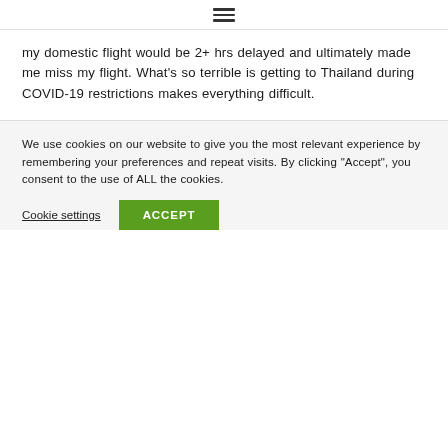≡
my domestic flight would be 2+ hrs delayed and ultimately made me miss my flight. What’s so terrible is getting to Thailand during COVID-19 restrictions makes everything difficult.
We use cookies on our website to give you the most relevant experience by remembering your preferences and repeat visits. By clicking “Accept”, you consent to the use of ALL the cookies.
Cookie settings  ACCEPT